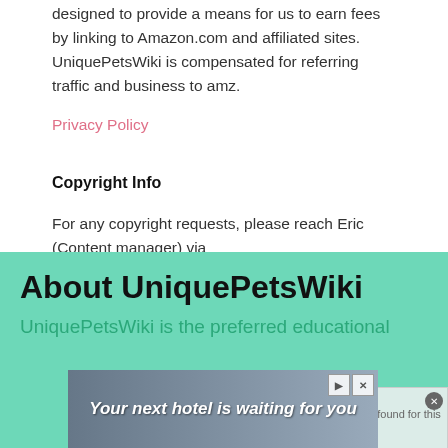designed to provide a means for us to earn fees by linking to Amazon.com and affiliated sites. UniquePetsWiki is compensated for referring traffic and business to amz.
Privacy Policy
Copyright Info
For any copyright requests, please reach Eric (Content manager) via eric.uniquepetswiki@gmail.com
About UniquePetsWiki
UniquePetsWiki is the preferred educational
[Figure (other): Advertisement banner showing 'Your next hotel is waiting for you' with hotel background image and ad controls]